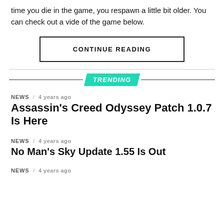time you die in the game, you respawn a little bit older. You can check out a vide of the game below.
CONTINUE READING
TRENDING
NEWS / 4 years ago
Assassin's Creed Odyssey Patch 1.0.7 Is Here
NEWS / 4 years ago
No Man's Sky Update 1.55 Is Out
NEWS / 4 years ago